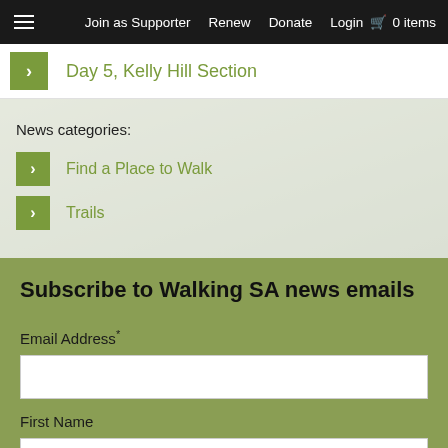Join as Supporter  Renew  Donate  Login  0 items
Day 5, Kelly Hill Section
News categories:
Find a Place to Walk
Trails
Subscribe to Walking SA news emails
Email Address*
First Name